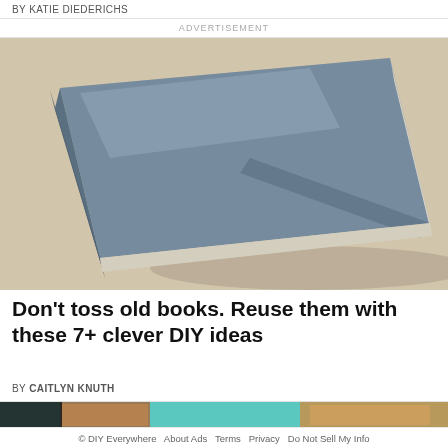BY KATIE DIEDERICHS
ADVERTISEMENT
[Figure (photo): A closed hardcover book with a blue-gray cloth cover lying flat on a light beige textured surface, photographed from a slightly elevated angle in natural sunlight.]
Don't toss old books. Reuse them with these 7+ clever DIY ideas
BY CAITLYN KNUTH
[Figure (photo): Partial view of wooden craft items or boxes on a teal/turquoise background, cropped at bottom of page.]
© DIY Everywhere   About Ads   Terms   Privacy   Do Not Sell My Info